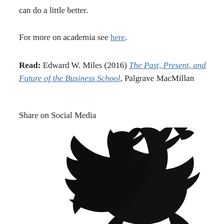can do a little better.
For more on academia see here.
Read: Edward W. Miles (2016) The Past, Present, and Future of the Business School, Palgrave MacMillan
Share on Social Media
[Figure (logo): Black silhouette of the Twitter bird logo]